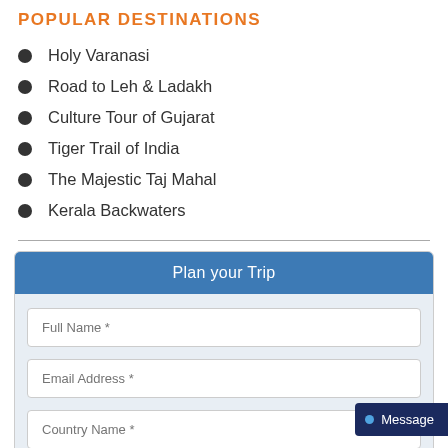POPULAR DESTINATIONS
Holy Varanasi
Road to Leh & Ladakh
Culture Tour of Gujarat
Tiger Trail of India
The Majestic Taj Mahal
Kerala Backwaters
Plan your Trip
Full Name *
Email Address *
Country Name *
Message